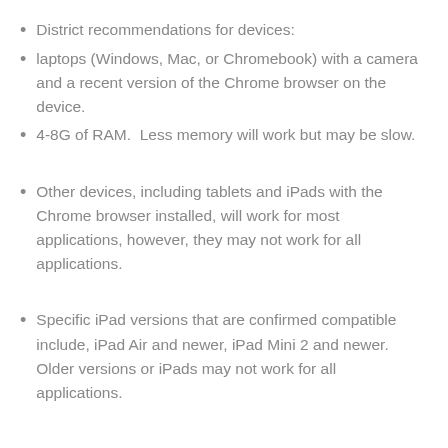District recommendations for devices:
laptops (Windows, Mac, or Chromebook) with a camera and a recent version of the Chrome browser on the device.
4-8G of RAM.  Less memory will work but may be slow.
Other devices, including tablets and iPads with the Chrome browser installed, will work for most applications, however, they may not work for all applications.
Specific iPad versions that are confirmed compatible include, iPad Air and newer, iPad Mini 2 and newer. Older versions or iPads may not work for all applications.